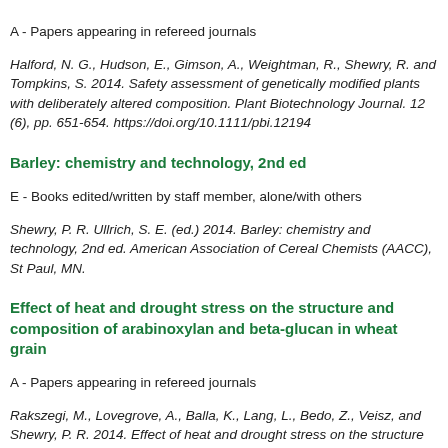A - Papers appearing in refereed journals
Halford, N. G., Hudson, E., Gimson, A., Weightman, R., Shewry, R. and Tompkins, S. 2014. Safety assessment of genetically modified plants with deliberately altered composition. Plant Biotechnology Journal. 12 (6), pp. 651-654. https://doi.org/10.1111/pbi.12194
Barley: chemistry and technology, 2nd ed
E - Books edited/written by staff member, alone/with others
Shewry, P. R. Ullrich, S. E. (ed.) 2014. Barley: chemistry and technology, 2nd ed. American Association of Cereal Chemists (AACC), St Paul, MN.
Effect of heat and drought stress on the structure and composition of arabinoxylan and beta-glucan in wheat grain
A - Papers appearing in refereed journals
Rakszegi, M., Lovegrove, A., Balla, K., Lang, L., Bedo, Z., Veisz, and Shewry, P. R. 2014. Effect of heat and drought stress on the structure and composition of arabinoxylan and beta-glucan in